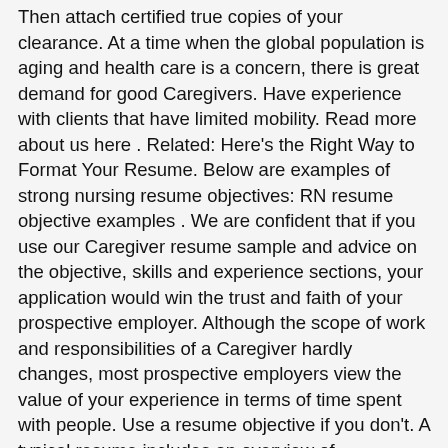Then attach certified true copies of your clearance. At a time when the global population is aging and health care is a concern, there is great demand for good Caregivers. Have experience with clients that have limited mobility. Read more about us here . Related: Here's the Right Way to Format Your Resume. Below are examples of strong nursing resume objectives: RN resume objective examples . We are confident that if you use our Caregiver resume sample and advice on the objective, skills and experience sections, your application would win the trust and faith of your prospective employer. Although the scope of work and responsibilities of a Caregiver hardly changes, most prospective employers view the value of your experience in terms of time spent with people. Use a resume objective if you don't. A typical resume includes an overview of appropriate work experience and education. 1998-2017, 3.4 GPA. I am a career and online marketing expert that has reviewed and written thousands of resumes. It is designed to be the hook that allows you to reel the hiring manager in with the rest of your resume. Elderly Caregiver Resume Examples. Top 20 Caregiver